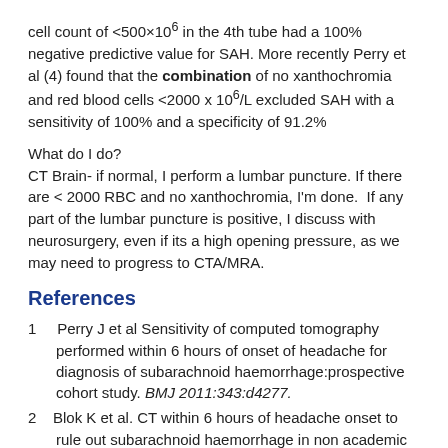cell count of <500×106 in the 4th tube had a 100% negative predictive value for SAH. More recently Perry et al (4) found that the combination of no xanthochromia and red blood cells <2000 x 106/L excluded SAH with a sensitivity of 100% and a specificity of 91.2%
What do I do?
CT Brain- if normal, I perform a lumbar puncture. If there are < 2000 RBC and no xanthochromia, I'm done.  If any part of the lumbar puncture is positive, I discuss with neurosurgery, even if its a high opening pressure, as we may need to progress to CTA/MRA.
References
1     Perry J et al Sensitivity of computed tomography performed within 6 hours of onset of headache for diagnosis of subarachnoid haemorrhage:prospective cohort study. BMJ 2011:343:d4277.
2    Blok K et al. CT within 6 hours of headache onset to rule out subarachnoid haemorrhage in non academic hospitals. Neurology 10.1212/WNL.000000000001562
3    Gorchynski J. Interpretation of traumatic lumbar punctures